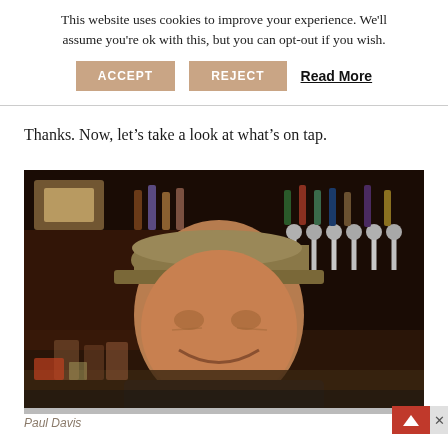This website uses cookies to improve your experience. We'll assume you're ok with this, but you can opt-out if you wish.
ACCEPT   REJECT   Read More
Thanks. Now, let’s take a look at what’s on tap.
[Figure (photo): A man wearing a baseball cap smiling in front of a bar with beer taps and bottles visible in the background.]
Paul Davis